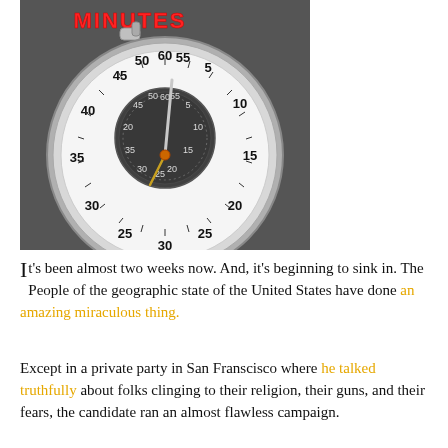[Figure (photo): A close-up photo of a stopwatch with the word MINUTES in red text at the top. The stopwatch has a silver metallic casing with a white outer dial showing numbers 5, 10, 15, 20, 25, 30, 35, 40, 45, 50, 55, 60 and an inner dark subdial. The hands are visible pointing near the 60/0 position.]
It's been almost two weeks now. And, it's beginning to sink in. The People of the geographic state of the United States have done an amazing miraculous thing.
Except in a private party in San Franscisco where he talked truthfully about folks clinging to their religion, their guns, and their fears, the candidate ran an almost flawless campaign.